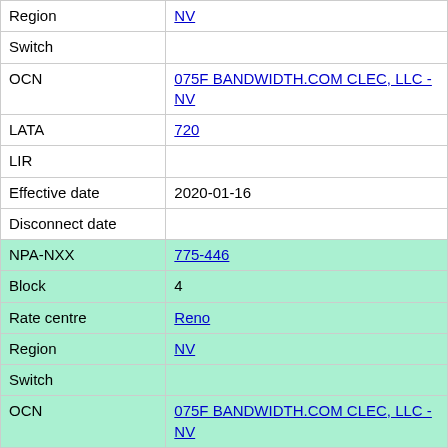| Field | Value |
| --- | --- |
| Region | NV |
| Switch |  |
| OCN | 075F BANDWIDTH.COM CLEC, LLC - NV |
| LATA | 720 |
| LIR |  |
| Effective date | 2020-01-16 |
| Disconnect date |  |
| NPA-NXX | 775-446 |
| Block | 4 |
| Rate centre | Reno |
| Region | NV |
| Switch |  |
| OCN | 075F BANDWIDTH.COM CLEC, LLC - NV |
| LATA | 720 |
| LIR |  |
| Effective date | 2020-01-16 |
| Disconnect date |  |
| NPA-NXX | 775-446 |
| Block | 5 |
| Rate centre | R... |